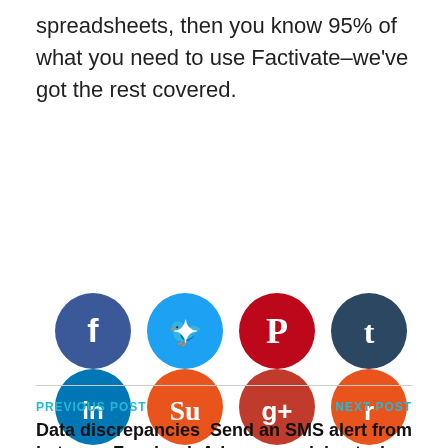spreadsheets, then you know 95% of what you need to use Factivate–we've got the rest covered.
[Figure (infographic): Social media sharing icons in two rows: Facebook, Twitter, Pinterest, Tumblr (top row); LinkedIn, StumbleUpon, Google+, Reddit (bottom row)]
PREVIOUS POST
Data discrepancies between Facebook Ad measurement with
NEXT POST
Send an SMS alert from your spreadsheet when a cell changes in less than